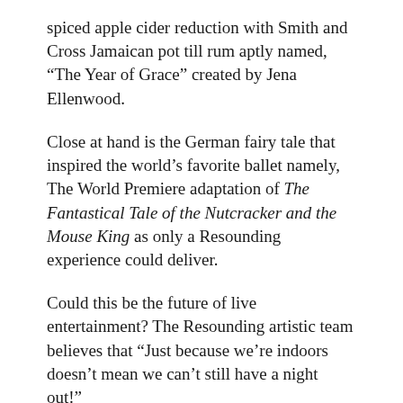spiced apple cider reduction with Smith and Cross Jamaican pot till rum aptly named, “The Year of Grace” created by Jena Ellenwood.
Close at hand is the German fairy tale that inspired the world’s favorite ballet namely, The World Premiere adaptation of The Fantastical Tale of the Nutcracker and the Mouse King as only a Resounding experience could deliver.
Could this be the future of live entertainment? The Resounding artistic team believes that “Just because we’re indoors doesn’t mean we can’t still have a night out!”
The show is performed LIVE December 17 through 19, 2020.  To make it a night in drop by http://www.resoundinglive...